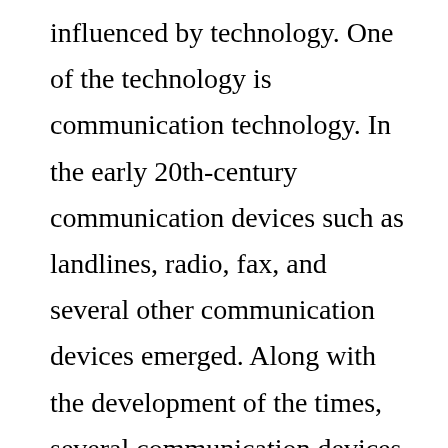influenced by technology. One of the technology is communication technology. In the early 20th-century communication devices such as landlines, radio, fax, and several other communication devices emerged. Along with the development of the times, several communication devices have also developed. Like telephone that may now be starting to be abandoned, because there are already many people who have switched to cell phones. Accompanied by the development of information technology, communication technology has developed rapidly. A term like cyber